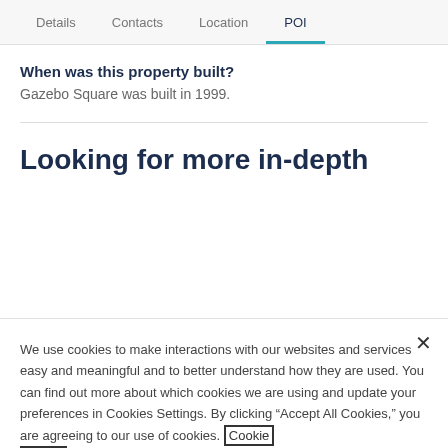Details | Contacts | Location | POI
When was this property built?
Gazebo Square was built in 1999.
Looking for more in-depth
We use cookies to make interactions with our websites and services easy and meaningful and to better understand how they are used. You can find out more about which cookies we are using and update your preferences in Cookies Settings. By clicking “Accept All Cookies,” you are agreeing to our use of cookies. Cookie Notice.
Cookies Settings
Accept All Cookies